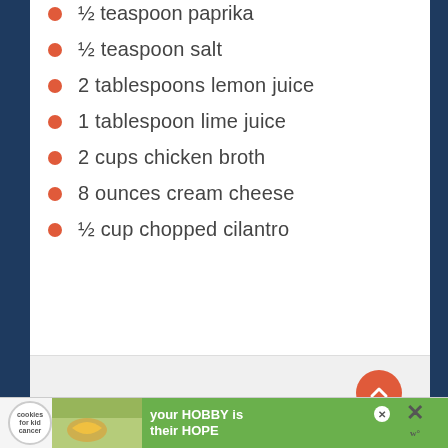½ teaspoon paprika
½ teaspoon salt
2 tablespoons lemon juice
1 tablespoon lime juice
2 cups chicken broth
8 ounces cream cheese
½ cup chopped cilantro
[Figure (infographic): Orange circular scroll-to-top button with upward chevron arrow, positioned in the lower right of the content area]
[Figure (infographic): Advertisement banner: cookies for kid cancer charity ad with 'your HOBBY is their HOPE' text on green background]